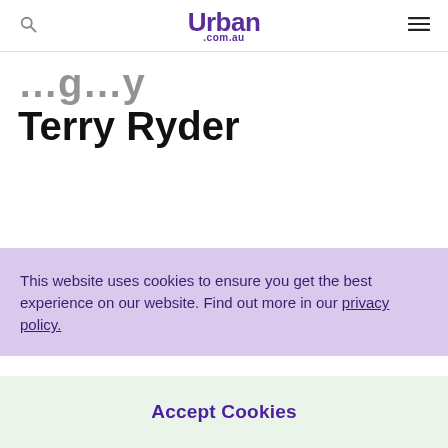Urban .com.au
Terry Ryder
This website uses cookies to ensure you get the best experience on our website. Find out more in our privacy policy.
Accept Cookies